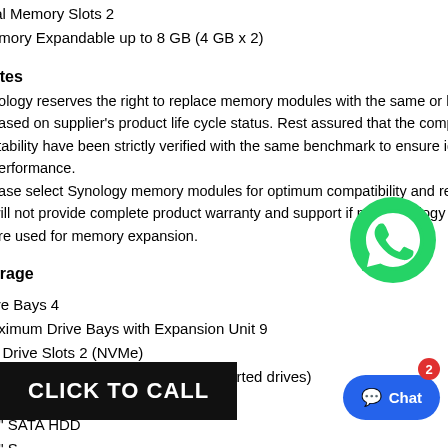tal Memory Slots 2
emory Expandable up to 8 GB (4 GB x 2)
otes
nology reserves the right to replace memory modules with the same or higher frequency based on supplier's product life cycle status. Rest assured that the compatibility and stability have been strictly verified with the same benchmark to ensure identical performance.
ease select Synology memory modules for optimum compatibility and reliability. Synology will not provide complete product warranty and support if non-Synology memory modules are used for memory expansion.
orage
ive Bays 4
aximum Drive Bays with Expansion Unit 9
2 Drive Slots 2 (NVMe)
ompatible Drive Type* (See all supported drives)
5" SATA HDD
5" SATA HDD
5" S
2 2280 NVMe SSD
[Figure (logo): WhatsApp green phone icon]
[Figure (other): CLICK TO CALL black button overlay]
[Figure (other): Chat button with badge showing 2]